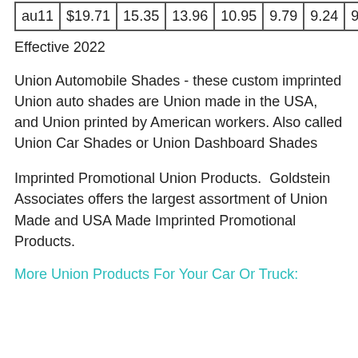| au11 | $19.71 | 15.35 | 13.96 | 10.95 | 9.79 | 9.24 | 9.03 |
Effective 2022
Union Automobile Shades - these custom imprinted Union auto shades are Union made in the USA, and Union printed by American workers. Also called Union Car Shades or Union Dashboard Shades
Imprinted Promotional Union Products.  Goldstein Associates offers the largest assortment of Union Made and USA Made Imprinted Promotional Products.
More Union Products For Your Car Or Truck: